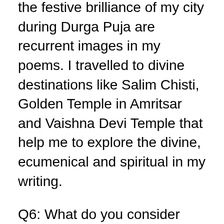the festive brilliance of my city during Durga Puja are recurrent images in my poems. I travelled to divine destinations like Salim Chisti, Golden Temple in Amritsar and Vaishna Devi Temple that help me to explore the divine, ecumenical and spiritual in my writing.
Q6: What do you consider your most meaningful work you've done creatively so far to you?
Rupsha: I feel my most meaningful work to me is the poetry chapbook 'Soul God' that I completed writing recently. It was also the Finalist in Poetry Question's Chapbook